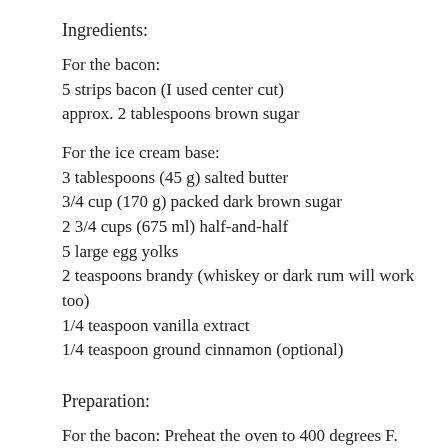Ingredients:
For the bacon:
5 strips bacon (I used center cut)
approx. 2 tablespoons brown sugar
For the ice cream base:
3 tablespoons (45 g) salted butter
3/4 cup (170 g) packed dark brown sugar
2 3/4 cups (675 ml) half-and-half
5 large egg yolks
2 teaspoons brandy (whiskey or dark rum will work too)
1/4 teaspoon vanilla extract
1/4 teaspoon ground cinnamon (optional)
Preparation:
For the bacon: Preheat the oven to 400 degrees F. Lay the strip of bacon on a baking sheet lined with aluminum foil, shiny side down. Sprinkle 1 1/2 to 2 teaspoons of brown sugar evenly over each strip of bacon. Bake for 12 -16 minutes.